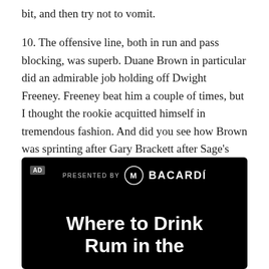bit, and then try not to vomit.
10. The offensive line, both in run and pass blocking, was superb. Duane Brown in particular did an admirable job holding off Dwight Freeney. Freeney beat him a couple of times, but I thought the rookie acquitted himself in tremendous fashion. And did you see how Brown was sprinting after Gary Brackett after Sage's first fumble? Talk about heart.
[Figure (other): Advertisement banner with black background. Shows 'AD' label, 'PRESENTED BY' text with Bacardi logo, and headline text 'Where to Drink Rum in the']